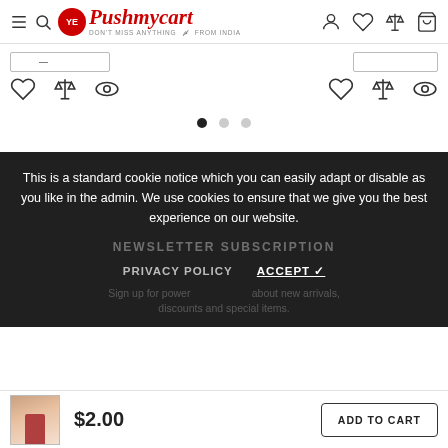Pushmycart — DON'T MISS ANYTHING FROM INDIA
[Figure (screenshot): Product listing row showing two product cards with outline buttons and action icons (heart, scale, eye), followed by pagination dots]
This is a standard cookie notice which you can easily adapt or disable as you like in the admin. We use cookies to ensure that we give you the best experience on our website.
NEWSLETTER SUBSCRIPTION
PRIVACY POLICY   ACCEPT ✓
Sign up for power alerts about new arrivals, discounts and special items.
$2.00
ADD TO CART